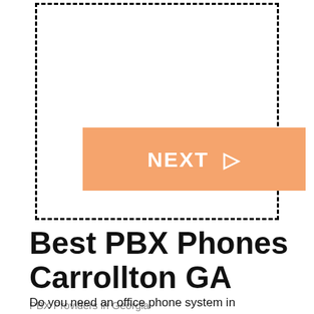[Figure (other): Dashed rectangle border containing a NEXT button with an orange/salmon background and white text reading NEXT with a right-pointing triangle arrow]
Best PBX Phones Carrollton GA
PBX Providers in Georgia
Do you need an office phone system in Carrollton